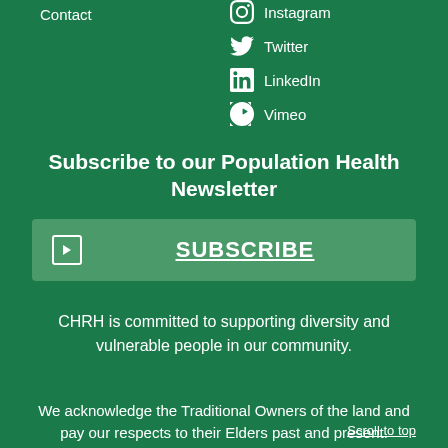Contact
Instagram
Twitter
LinkedIn
Vimeo
Subscribe to our Population Health Newsletter
SUBSCRIBE
CHRH is committed to supporting diversity and vulnerable people in our community.
We acknowledge the Traditional Owners of the land and pay our respects to their Elders past and present.
Scroll to top